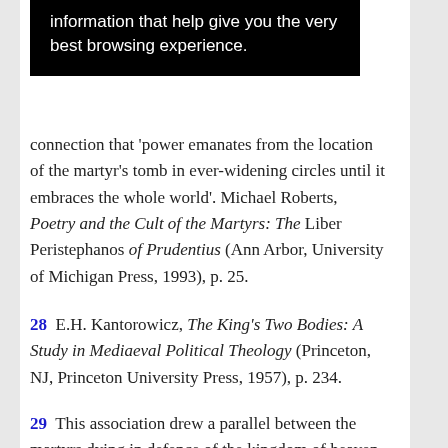information that help give you the very best browsing experience.
connection that 'power emanates from the location of the martyr's tomb in ever-widening circles until it embraces the whole world'. Michael Roberts, Poetry and the Cult of the Martyrs: The Liber Peristephanos of Prudentius (Ann Arbor, University of Michigan Press, 1993), p. 25.
28  E.H. Kantorowicz, The King's Two Bodies: A Study in Mediaeval Political Theology (Princeton, NJ, Princeton University Press, 1957), p. 234.
29  This association drew a parallel between the martyrs dying in defence of the kingdom of heaven and those dying in defence of holy soil of one's own patria. One marked difference is illustrated by the pagan repugnance towards the Christian way of connecting